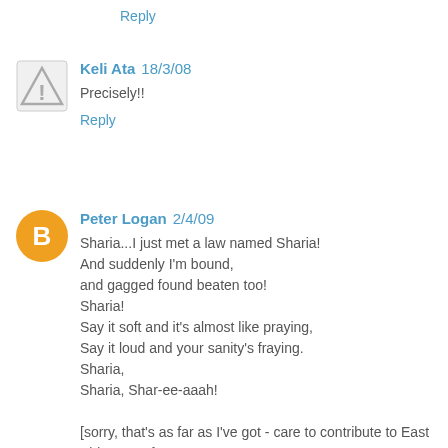Reply
Keli Ata 18/3/08
Precisely!!
Reply
Peter Logan 2/4/09
Sharia...I just met a law named Sharia!
And suddenly I'm bound,
and gagged found beaten too!
Sharia!
Say it soft and it's almost like praying,
Say it loud and your sanity's fraying.
Sharia,
Sharia, Shar-ee-aaah!

[sorry, that's as far as I've got - care to contribute to East Side Story?}
Reply